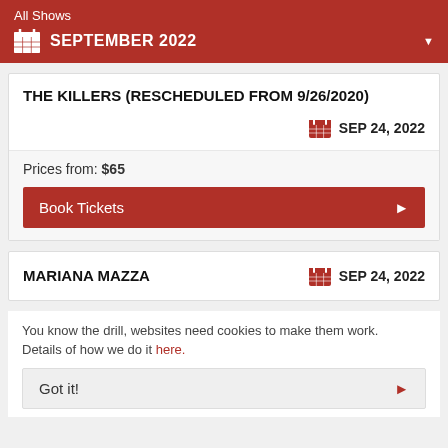All Shows
SEPTEMBER 2022
THE KILLERS (RESCHEDULED FROM 9/26/2020)
SEP 24, 2022
Prices from: $65
Book Tickets
MARIANA MAZZA
SEP 24, 2022
You know the drill, websites need cookies to make them work. Details of how we do it here.
Got it!